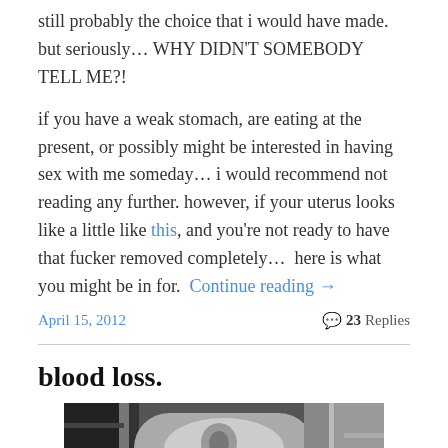still probably the choice that i would have made. but seriously… WHY DIDN'T SOMEBODY TELL ME?!
if you have a weak stomach, are eating at the present, or possibly might be interested in having sex with me someday… i would recommend not reading any further. however, if your uterus looks like a little like this, and you're not ready to have that fucker removed completely…  here is what you might be in for.  Continue reading →
April 15, 2012
23 Replies
blood loss.
[Figure (photo): Black and white photograph showing a person's face or figure]